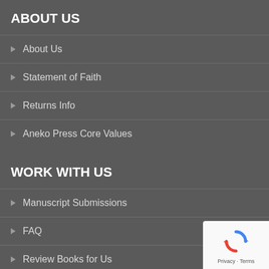ABOUT US
About Us
Statement of Faith
Returns Info
Aneko Press Core Values
WORK WITH US
Manuscript Submissions
FAQ
Review Books for Us
Volunteer
[Figure (logo): reCAPTCHA badge with Privacy and Terms links]